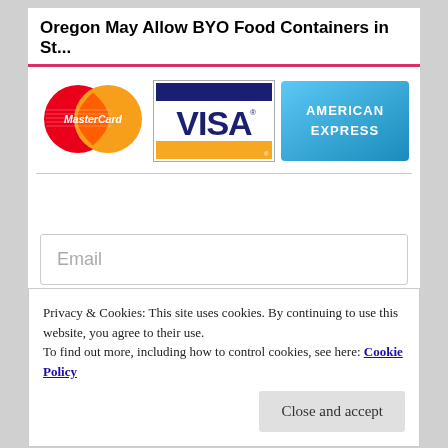Oregon May Allow BYO Food Containers in St...
[Figure (logo): MasterCard logo with red and orange overlapping circles]
[Figure (logo): VISA logo with dark blue text and orange bar on white background with border]
[Figure (logo): American Express logo with blue gradient background and white text]
Email
Privacy & Cookies: This site uses cookies. By continuing to use this website, you agree to their use.
To find out more, including how to control cookies, see here: Cookie Policy
Close and accept
TECH to ANALYSE & MEASURE BIODEGRADATION